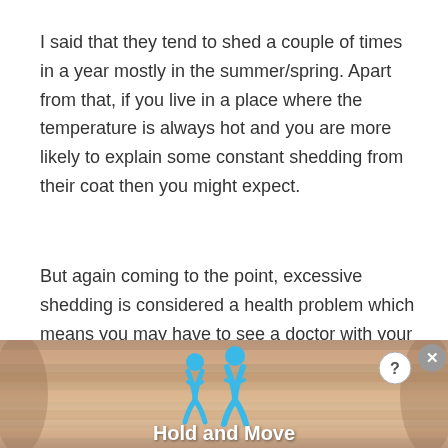I said that they tend to shed a couple of times in a year mostly in the summer/spring. Apart from that, if you live in a place where the temperature is always hot and you are more likely to explain some constant shedding from their coat then you might expect.
But again coming to the point, excessive shedding is considered a health problem which means you may have to see a doctor with your Bunny at that
[Figure (screenshot): Advertisement banner showing 'Hold and Move' mobile game with blue cartoon figures and a close (X) button and help (?) button in the top right corner.]